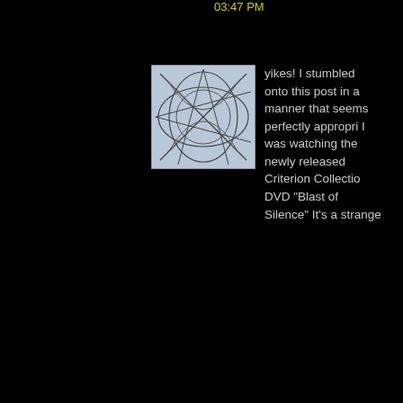03:47 PM
[Figure (illustration): Square avatar image with abstract line drawing on light blue/white background — overlapping curved and straight lines forming a complex geometric pattern]
yikes! I stumbled onto this post in a manner that seems perfectly appropriate. I was watching the newly released Criterion Collection DVD "Blast of Silence" It's a strange